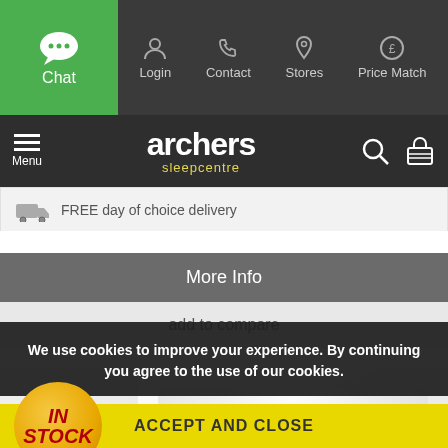[Figure (screenshot): Website navigation header with Chat, Login, Contact, Stores, Price Match buttons]
[Figure (logo): Archers Sleepcentre logo with hamburger menu and search/basket icons]
FREE day of choice delivery
More Info
add to compare
[Figure (photo): Mattress product image with IN STOCK badge]
We use cookies to improve your experience. By continuing you agree to the use of our cookies.
ACCEPT AND CLOSE